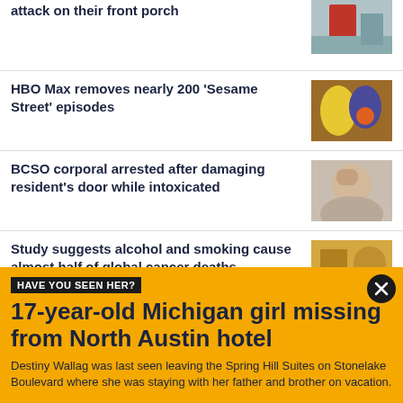attack on their front porch
HBO Max removes nearly 200 'Sesame Street' episodes
BCSO corporal arrested after damaging resident's door while intoxicated
Study suggests alcohol and smoking cause almost half of global cancer deaths
HAVE YOU SEEN HER?
17-year-old Michigan girl missing from North Austin hotel
Destiny Wallag was last seen leaving the Spring Hill Suites on Stonelake Boulevard where she was staying with her father and brother on vacation.